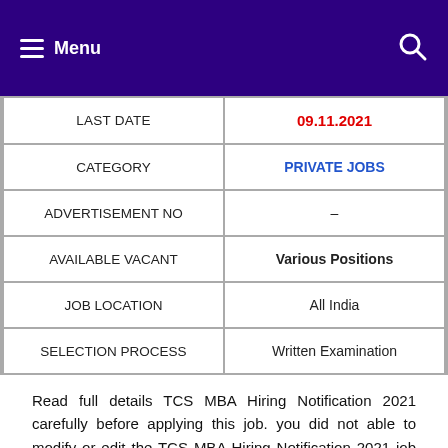Menu
| LAST DATE | 09.11.2021 |
| CATEGORY | PRIVATE JOBS |
| ADVERTISEMENT NO | – |
| AVAILABLE VACANT | Various Positions |
| JOB LOCATION | All India |
| SELECTION PROCESS | Written Examination |
Read full details TCS MBA Hiring Notification 2021 carefully before applying this job. you did not able to modify or edit the TCS MBA Hiring Notification 2021 job application once submitted. For more TN state jobs, Central govt jobs keep visit our official website